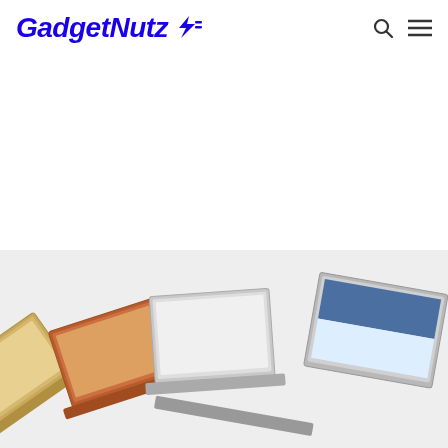GadgetNutz
[Figure (photo): Multiple laptop computers fanned out showing different colors (gold, orange, white, silver) in a product display, partially visible at the bottom of the page, on a light gray background.]